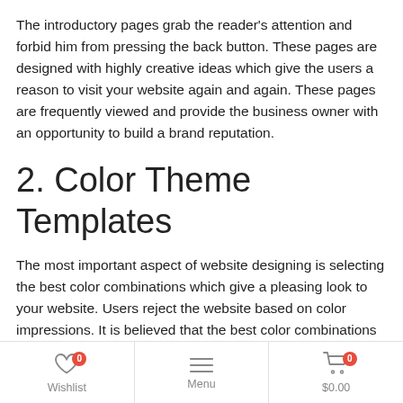The introductory pages grab the reader's attention and forbid him from pressing the back button. These pages are designed with highly creative ideas which give the users a reason to visit your website again and again. These pages are frequently viewed and provide the business owner with an opportunity to build a brand reputation.
2. Color Theme Templates
The most important aspect of website designing is selecting the best color combinations which give a pleasing look to your website. Users reject the website based on color impressions. It is believed that the best color combinations create a positive impact on the user and drive a profitable customer action for the business. Our interior design website template ultimately encourages the users to stay for a long on your website.
Wishlist 0 | Menu | $0.00 0